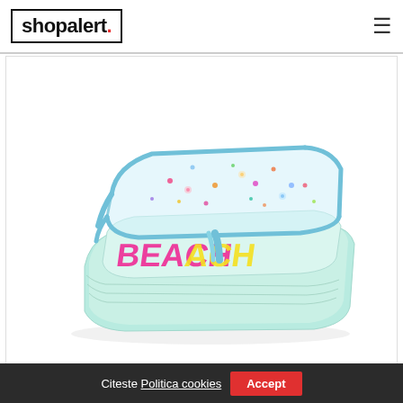shopalert.
[Figure (photo): Light blue wedge sandal/slide with a clear transparent strap trimmed in aqua blue, featuring colorful floral/confetti print on the strap and 'BEACH' text in pink and yellow on the footbed. White background product photo.]
Citeste Politica cookies   Accept